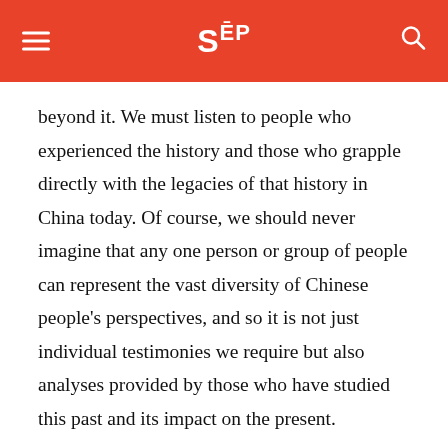SEP
beyond it. We must listen to people who experienced the history and those who grapple directly with the legacies of that history in China today. Of course, we should never imagine that any one person or group of people can represent the vast diversity of Chinese people's perspectives, and so it is not just individual testimonies we require but also analyses provided by those who have studied this past and its impact on the present.
It is possible to